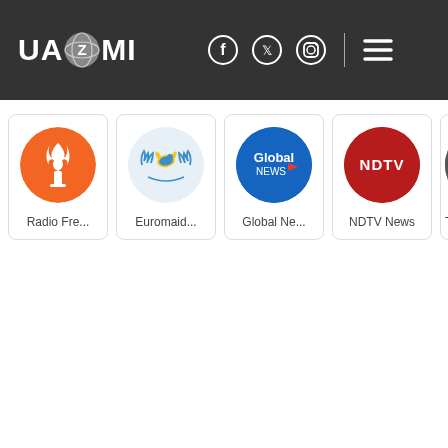UAZMI — navigation bar with logo, social icons, and menu
[Figure (screenshot): Website screenshot showing UAZMI logo in top-left navigation bar, with Facebook, Twitter, Instagram icons and hamburger menu on the right, followed by a horizontal row of news channel cards: Radio Fre..., Euromaid..., Global Ne..., NDTV News, Th... (partially visible)]